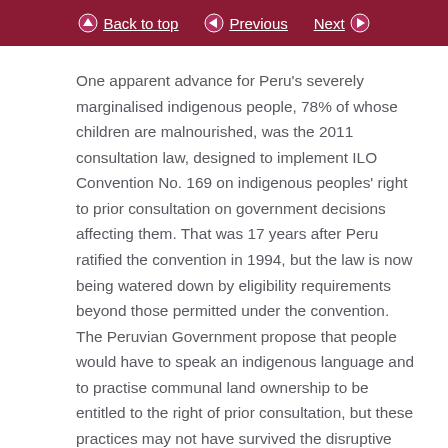Back to top | Previous | Next
One apparent advance for Peru’s severely marginalised indigenous people, 78% of whose children are malnourished, was the 2011 consultation law, designed to implement ILO Convention No. 169 on indigenous peoples’ right to prior consultation on government decisions affecting them. That was 17 years after Peru ratified the convention in 1994, but the law is now being watered down by eligibility requirements beyond those permitted under the convention. The Peruvian Government propose that people would have to speak an indigenous language and to practise communal land ownership to be entitled to the right of prior consultation, but these practices may not have survived the disruptive and discriminatory